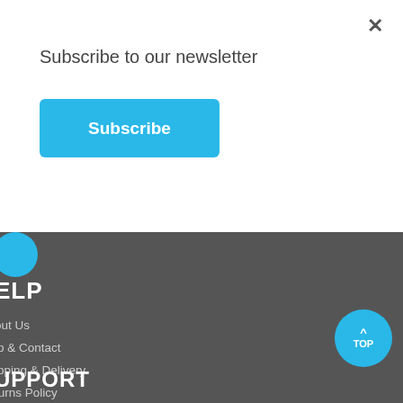Subscribe to our newsletter
Subscribe
HELP
About Us
Help & Contact
Shipping & Delivery
Returns Policy
Cookie Policy
Privacy Policy
Opening Hours
Warranty Form
Product Warranty Period
SUPPORT
TOP